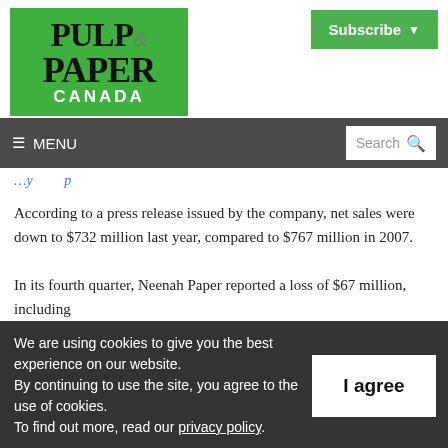[Figure (logo): Pulp & Paper Canada logo — green background with bold serif text]
Subscribe ▾
≡ MENU   Search 🔍
According to a press release issued by the company, net sales were down to $732 million last year, compared to $767 million in 2007.
In its fourth quarter, Neenah Paper reported a loss of $67 million, including
We are using cookies to give you the best experience on our website.
By continuing to use the site, you agree to the use of cookies.
To find out more, read our privacy policy.
I agree